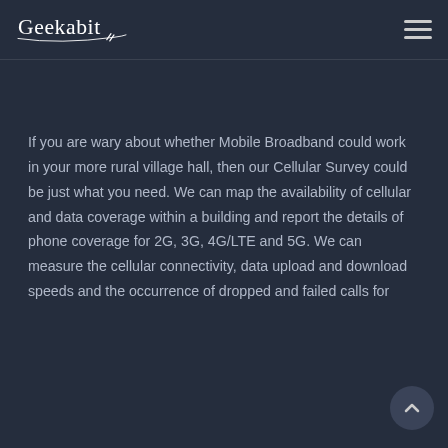[Figure (logo): Geekabit cursive/script logo in white on dark background]
[Figure (other): Hamburger menu icon (three horizontal lines) in light grey]
If you are wary about whether Mobile Broadband could work in your more rural village hall, then our Cellular Survey could be just what you need. We can map the availability of cellular and data coverage within a building and report the details of phone coverage for 2G, 3G, 4G/LTE and 5G. We can measure the cellular connectivity, data upload and download speeds and the occurrence of dropped and failed calls for
[Figure (other): Scroll-to-top circular button with upward chevron arrow]